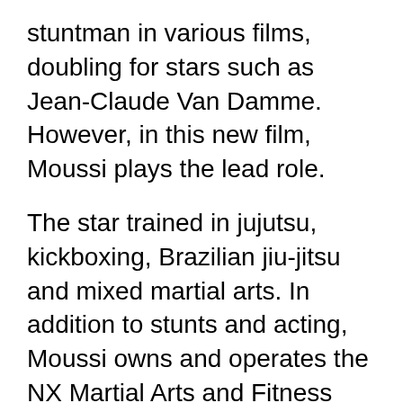stuntman in various films, doubling for stars such as Jean-Claude Van Damme. However, in this new film, Moussi plays the lead role.
The star trained in jujutsu, kickboxing, Brazilian jiu-jitsu and mixed martial arts. In addition to stunts and acting, Moussi owns and operates the NX Martial Arts and Fitness Academy in Orleans, Ottawa, Canada. He is married and has a girl named Annabel.
In a chat with the National News Agency, Moussi, currently in Hollywood, said that his father encouraged him to pursue martial arts from a young age as he was a big fan of Bruce Lee.
"I used to practice kickboxing with my dad until I